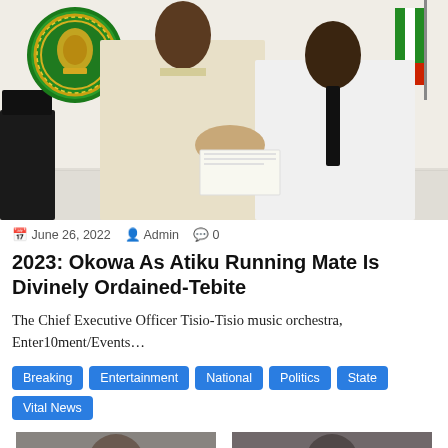[Figure (photo): Two men shaking hands in an official setting. Left person wears cream traditional outfit, right person wears white suit with dark tie. Nigerian coat of arms (green circle with gold) on wall behind them, Nigerian flag on right side.]
June 26, 2022   Admin   0
2023: Okowa As Atiku Running Mate Is Divinely Ordained-Tebite
The Chief Executive Officer Tisio-Tisio music orchestra, Enter10ment/Events…
Breaking   Entertainment   National   Politics   State   Vital News
[Figure (photo): Small thumbnail photo of a person wearing sunglasses, cropped portrait.]
[Figure (photo): Small thumbnail photo of a person wearing dark glasses, cropped portrait.]